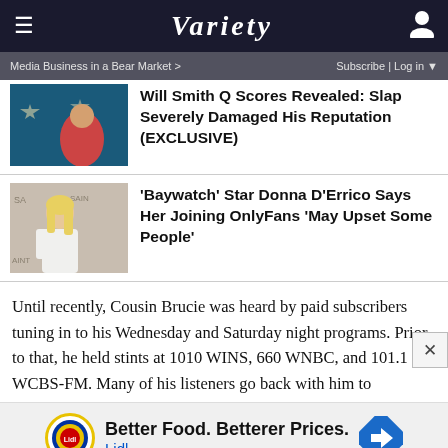VARIETY
Media Business in a Bear Market >   Subscribe | Log in
Will Smith Q Scores Revealed: Slap Severely Damaged His Reputation (EXCLUSIVE)
'Baywatch' Star Donna D'Errico Says Her Joining OnlyFans 'May Upset Some People'
Until recently, Cousin Brucie was heard by paid subscribers tuning in to his Wednesday and Saturday night programs. Prior to that, he held stints at 1010 WINS, 660 WNBC, and 101.1 WCBS-FM. Many of his listeners go back with him to
[Figure (illustration): Advertisement for Lidl: Better Food. Betterer Prices. Lidl logo and navigation arrow icon shown.]